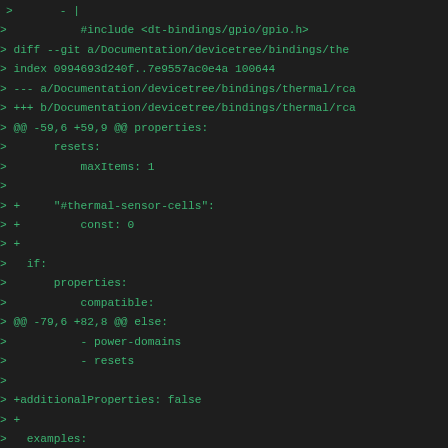>       - |
>           #include <dt-bindings/gpio/gpio.h>
> diff --git a/Documentation/devicetree/bindings/the
> index 0994693d240f..7e9557ac0e4a 100644
> --- a/Documentation/devicetree/bindings/thermal/rca
> +++ b/Documentation/devicetree/bindings/thermal/rca
> @@ -59,6 +59,9 @@ properties:
>       resets:
>           maxItems: 1
> 
> +     "#thermal-sensor-cells":
> +         const: 0
> + 
>   if:
>       properties:
>           compatible:
> @@ -79,6 +82,8 @@ else:
>           - power-domains
>           - resets
> 
> +additionalProperties: false
> + 
>   examples:
>       # Example (non interrupt support)
>       - |
> diff --git a/Documentation/devicetree/bindings/the
> index af2ff930646a..6d65a3cf2af2 100644
> --- a/Documentation/devicetree/bindings/thermal/spi
> +++ b/Documentation/devicetree/bindings/thermal/spi
> @@ -68,6 +68,8 @@ patternProperties:
>           - nvmem-cells